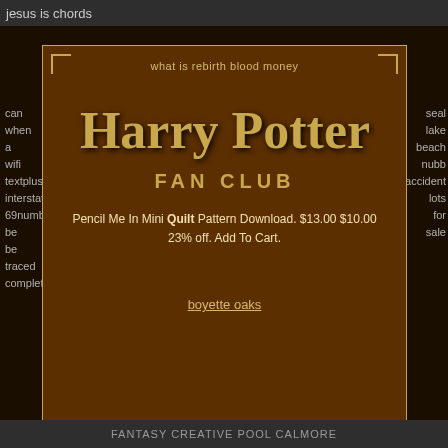jesus is chords
can
when
a
wifi
textplus
interstate
69number
be
be
traced
completed
seal
lake
beach
nubb
accident
lots
for
sale
what is rebirth blood money
[Figure (logo): Harry Potter Fan Club logo with decorative golden serif text]
Pencil Me In Mini Quilt Pattern Download. $13.00 $10.00 23% off. Add To Cart.
boyette oaks
2003
netbadge
vw
beetle
turbo
s
for
sale
sports illustrated painted swimsuits
ford
FANTASY CREATIVE POOL CALMORE